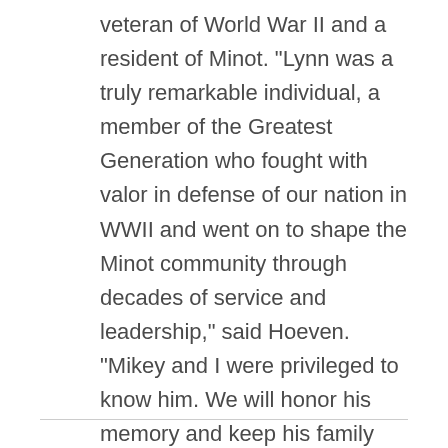veteran of World War II and a resident of Minot. "Lynn was a truly remarkable individual, a member of the Greatest Generation who fought with valor in defense of our nation in WWII and went on to shape the Minot community through decades of service and leadership," said Hoeven. "Mikey and I were privileged to know him. We will honor his memory and keep his family and loved ones in our … Continue Reading